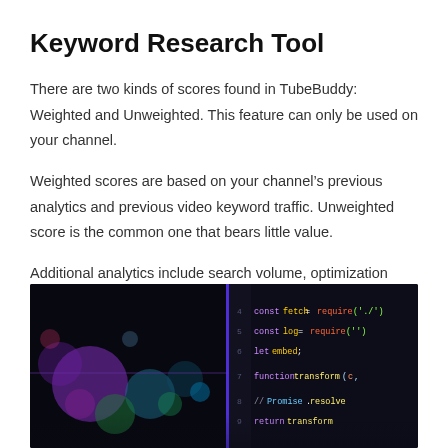Keyword Research Tool
There are two kinds of scores found in TubeBuddy: Weighted and Unweighted. This feature can only be used on your channel.
Weighted scores are based on your channel’s previous analytics and previous video keyword traffic. Unweighted score is the common one that bears little value.
Additional analytics include search volume, optimization strength and interest over time using Google trends. This feature is available in the Free plan so that you can get an early start for your channel.
[Figure (photo): Dark background code editor screenshot showing JavaScript code with colorful syntax highlighting including const fetch, const log, let embed, function, Promise.resolve, and return statements.]